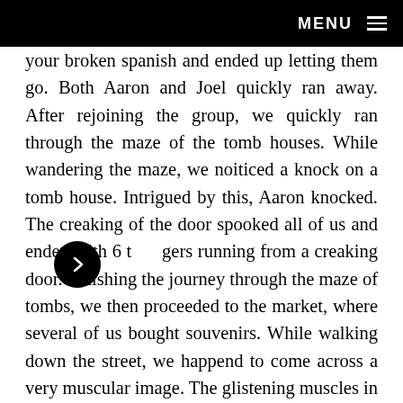MENU
your broken spanish and ended up letting them go. Both Aaron and Joel quickly ran away. After rejoining the group, we quickly ran through the maze of the tomb houses. While wandering the maze, we noiticed a knock on a tomb house. Intrigued by this, Aaron knocked. The creaking of the door spooked all of us and ended with 6 teenagers running from a creaking door. Finishing the journey through the maze of tombs, we then proceeded to the market, where several of us bought souvenirs. While walking down the street, we happend to come across a very muscular image. The glistening muscles in the picture quickly clicked in our head as we immidiately thought of Austin's grandé muscles. After the quick trip to the market, we headed to